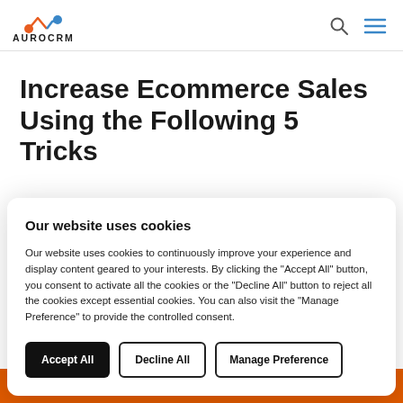AUROCRM
Increase Ecommerce Sales Using the Following 5 Tricks
Our website uses cookies
Our website uses cookies to continuously improve your experience and display content geared to your interests. By clicking the "Accept All" button, you consent to activate all the cookies or the "Decline All" button to reject all the cookies except essential cookies. You can also visit the "Manage Preference" to provide the controlled consent.
Accept All | Decline All | Manage Preference
using the following 5 Tricks